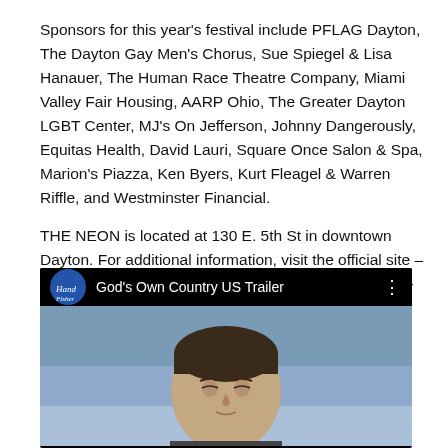Sponsors for this year's festival include PFLAG Dayton, The Dayton Gay Men's Chorus, Sue Spiegel & Lisa Hanauer, The Human Race Theatre Company, Miami Valley Fair Housing, AARP Ohio, The Greater Dayton LGBT Center, MJ's On Jefferson, Johnny Dangerously, Equitas Health, David Lauri, Square Once Salon & Spa, Marion's Piazza, Ken Byers, Kurt Fleagel & Warren Riffle, and Westminster Financial.
THE NEON is located at 130 E. 5th St in downtown Dayton. For additional information, visit the official site – www.daytonlgbt.com – or call THE NEON at (937)222-8452.
[Figure (screenshot): Embedded YouTube video player showing 'God's Own Country US Trailer' with a channel logo and a thumbnail of a young man's face]